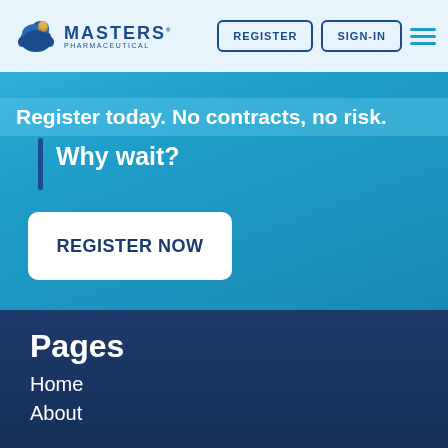Masters Pharmaceutical — REGISTER | SIGN-IN navigation
catalog?
Register today. No contracts, no risk.
Why wait?
REGISTER NOW
Pages
Home
About